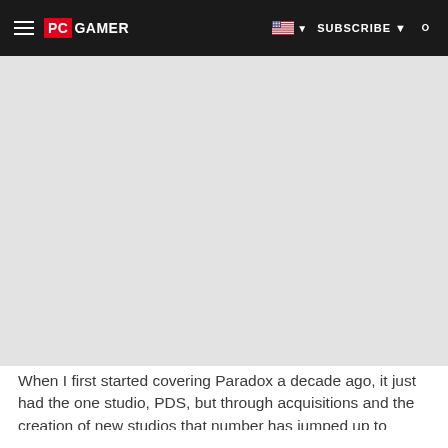PC GAMER  SUBSCRIBE
[Figure (other): Gray placeholder/advertisement area below the navigation bar]
When I first started covering Paradox a decade ago, it just had the one studio, PDS, but through acquisitions and the creation of new studios that number has jumped up to seven. The most recent acquisitions were Age of Wonders developer Triumph Studios and BattleTech's Harebrained Schemes.